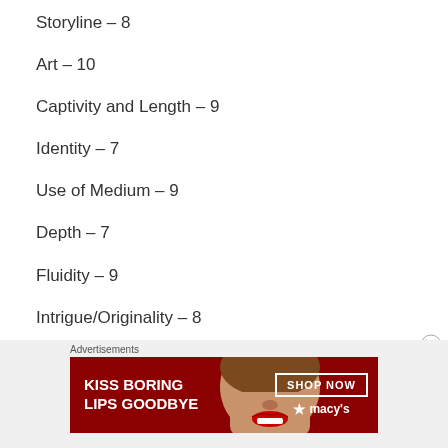Storyline – 8
Art – 10
Captivity and Length – 9
Identity – 7
Use of Medium – 9
Depth – 7
Fluidity – 9
Intrigue/Originality – 8
[Figure (illustration): Macy's advertisement banner: 'KISS BORING LIPS GOODBYE' with a woman's face showing red lips, and a SHOP NOW button with the Macy's star logo.]
Advertisements